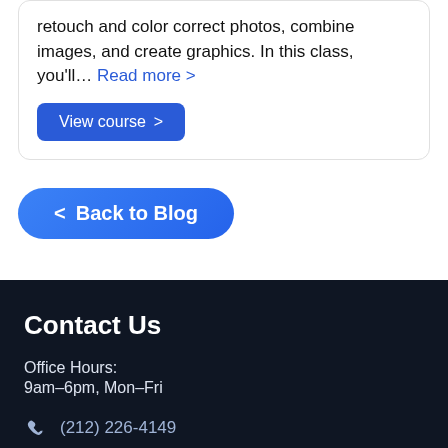retouch and color correct photos, combine images, and create graphics. In this class, you'll… Read more >
View course >
< Back to Blog
Contact Us
Office Hours:
9am–6pm, Mon–Fri
(212) 226-4149